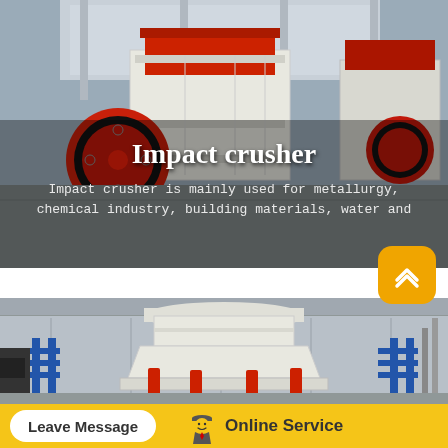[Figure (photo): Industrial impact crusher machine with large orange flywheel and red hopper in a factory/workshop setting]
Impact crusher
Impact crusher is mainly used for metallurgy, chemical industry, building materials, water and
[Figure (photo): Large white industrial cone crusher machine supported on red and blue steel framework inside a factory]
Leave Message
Online Service